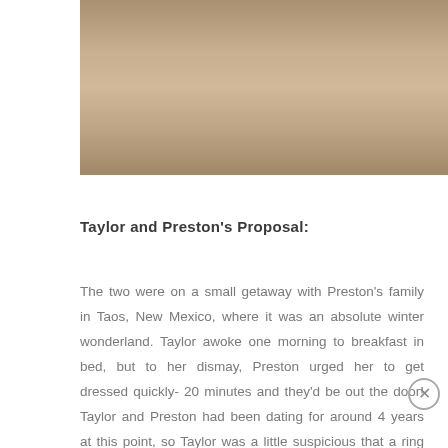[Figure (photo): Sepia-toned wedding or formal group photo showing people in formal attire including a bride in white lace dress surrounded by men in dark suits/military uniforms, cropped to show bodies from about waist/chest up]
Taylor and Preston's Proposal:
The two were on a small getaway with Preston's family in Taos, New Mexico, where it was an absolute winter wonderland. Taylor awoke one morning to breakfast in bed, but to her dismay, Preston urged her to get dressed quickly- 20 minutes and they'd be out the door! Taylor and Preston had been dating for around 4 years at this point, so Taylor was a little suspicious that a ring might be coming her way, and what could be more romantic that a snow covered backdrop for a